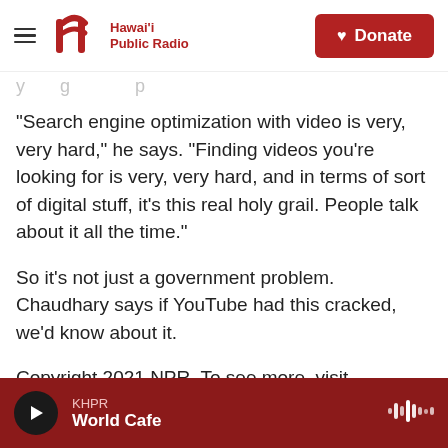Hawai'i Public Radio | Donate
"Search engine optimization with video is very, very hard," he says. "Finding videos you're looking for is very, very hard, and in terms of sort of digital stuff, it's this real holy grail. People talk about it all the time."
So it's not just a government problem. Chaudhary says if YouTube had this cracked, we'd know about it.
Copyright 2021 NPR. To see more, visit https://www.npr.org.
KHPR | World Cafe